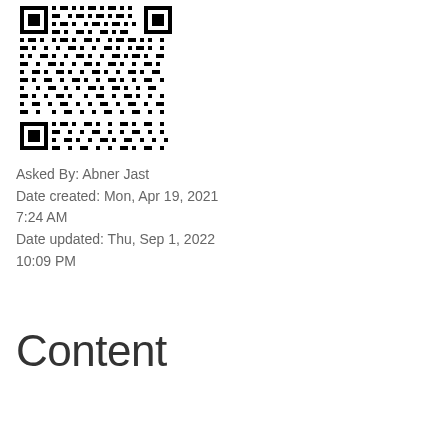[Figure (other): QR code image in black and white]
Asked By: Abner Jast
Date created: Mon, Apr 19, 2021 7:24 AM
Date updated: Thu, Sep 1, 2022 10:09 PM
Content